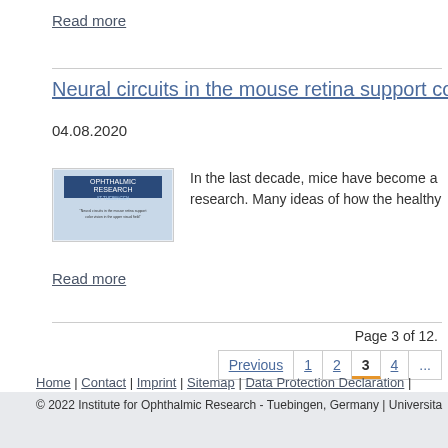Read more
Neural circuits in the mouse retina support color
04.08.2020
[Figure (screenshot): Thumbnail image of Ophthalmic Research article about neural circuits in mouse retina supporting color vision in upper visual field]
In the last decade, mice have become a research. Many ideas of how the healthy
Read more
Page 3 of 12.
Previous | 1 | 2 | 3 | 4 | ...
Home | Contact | Imprint | Sitemap | Data Protection Declaration |
© 2022 Institute for Ophthalmic Research - Tuebingen, Germany | Universita